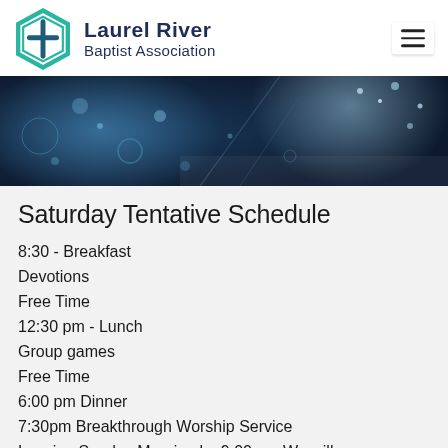Laurel River Baptist Association
[Figure (photo): Winter bokeh background image with frost and snow sparkles on blue background]
Saturday Tentative Schedule
8:30 - Breakfast
Devotions
Free Time
12:30 pm - Lunch
Group games
Free Time
6:00 pm Dinner
7:30pm Breakthrough Worship Service
Leaving Sunday Morning by 9:00am. We will